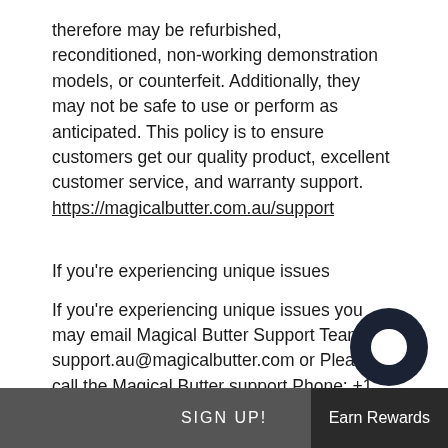therefore may be refurbished, reconditioned, non-working demonstration models, or counterfeit. Additionally, they may not be safe to use or perform as anticipated. This policy is to ensure customers get our quality product, excellent customer service, and warranty support. https://magicalbutter.com.au/support
If you're experiencing unique issues
If you're experiencing unique issues you may email Magical Butter Support Team at support.au@magicalbutter.com or Please call the Magical Butter support Phone: +1 (800) 420-4334
SIGN UP!  Earn Rewards